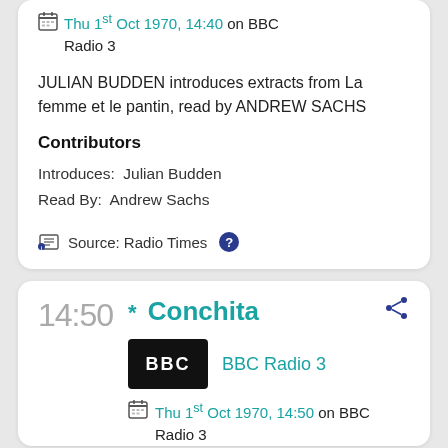Thu 1st Oct 1970, 14:40 on BBC Radio 3
JULIAN BUDDEN introduces extracts from La femme et le pantin, read by ANDREW SACHS
Contributors
Introduces: Julian Budden
Read By: Andrew Sachs
Source: Radio Times
14:50
* Conchita
BBC Radio 3
Thu 1st Oct 1970, 14:50 on BBC Radio 3